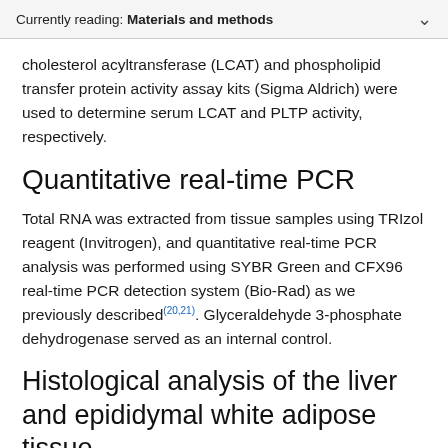Currently reading: Materials and methods
cholesterol acyltransferase (LCAT) and phospholipid transfer protein activity assay kits (Sigma Aldrich) were used to determine serum LCAT and PLTP activity, respectively.
Quantitative real-time PCR
Total RNA was extracted from tissue samples using TRIzol reagent (Invitrogen), and quantitative real-time PCR analysis was performed using SYBR Green and CFX96 real-time PCR detection system (Bio-Rad) as we previously described(20,21). Glyceraldehyde 3-phosphate dehydrogenase served as an internal control.
Histological analysis of the liver and epididymal white adipose tissue